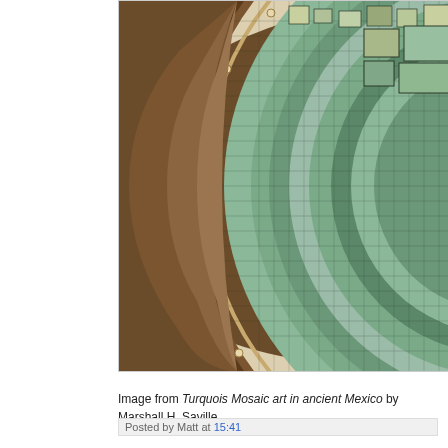[Figure (photo): Close-up photograph of a circular turquoise mosaic artifact from ancient Mexico. The mosaic features intricate small turquoise and stone tiles arranged in concentric circular patterns, set within a dark wooden or organic frame with small round rivets or studs along the border. The background behind the artifact is a light tan/cream color.]
Image from Turquois Mosaic art in ancient Mexico by Marshall H. Saville
Posted by Matt at 15:41